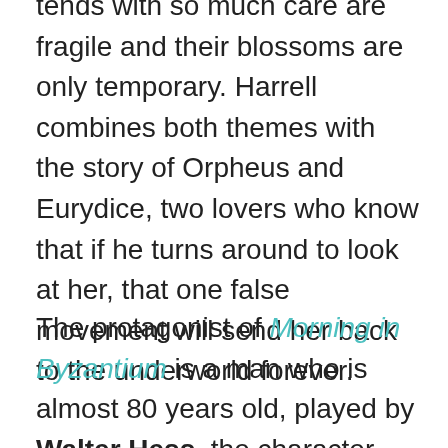devastating storm. The roses that he tends with so much care are fragile and their blossoms are only temporary. Harrell combines both themes with the story of Orpheus and Eurydice, two lovers who know that if he turns around to look at her, that one false movement will send her back to the underworld forever.
The protagonist of Morning in Byzantium is a man who is almost 80 years old, played by Walter Hess, the character through whose eyes this evening is seen.